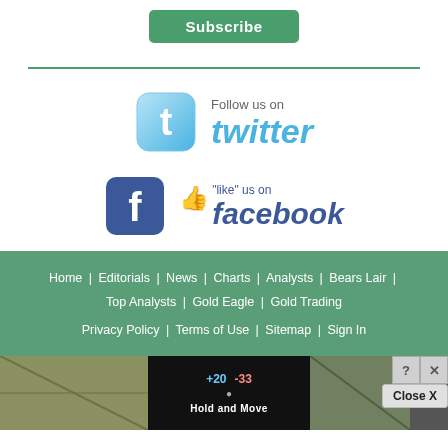[Figure (other): Subscribe button - green rounded rectangle with white text 'Subscribe']
[Figure (logo): Follow us on Twitter badge with Twitter bird icon and stylized 'twitter' text in blue]
[Figure (logo): Like us on Facebook badge with Facebook 'f' icon, thumbs up icon, and 'facebook' text in blue]
Home | Editorials | News | Charts | Analysts | Bears Lair | Top Analysts | Gold Eagle | Gold Trading
Privacy Policy | Terms of Use | Sitemap | Sign In
[Figure (screenshot): Advertisement banner showing 'Hold and Move' app/game with score indicators (+20, -33), forest background, and Close X button]